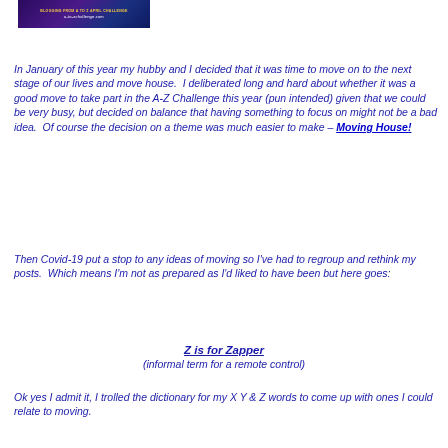[Figure (illustration): A-to-Z Challenge blogging banner with purple/blue galaxy background and text 'BLOGGING FROM A TO Z APRIL CHALLENGE' and 'a-to-zchallenge.com']
In January of this year my hubby and I decided that it was time to move on to the next stage of our lives and move house. I deliberated long and hard about whether it was a good move to take part in the A-Z Challenge this year (pun intended) given that we could be very busy, but decided on balance that having something to focus on might not be a bad idea. Of course the decision on a theme was much easier to make – Moving House!
Then Covid-19 put a stop to any ideas of moving so I've had to regroup and rethink my posts. Which means I'm not as prepared as I'd liked to have been but here goes:
Z is for Zapper
(informal term for a remote control)
Ok yes I admit it, I trolled the dictionary for my X Y & Z words to come up with ones I could relate to moving.